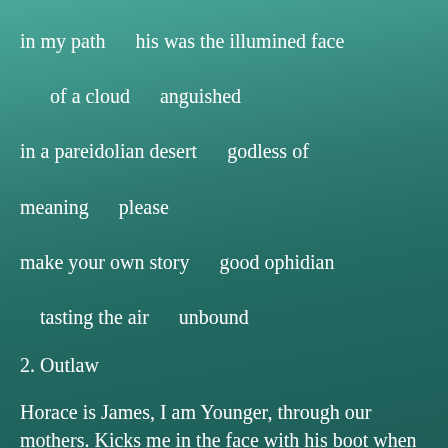in my path      his was the illumined face
      of a cloud      anguished
in a pareidolian desert      godless of
meaning      please
make your own story      good ophidian
    tasting the air      unbound
2. Outlaw
Horace is James, I am Younger, through our mothers. Kicks me in the face with his boot when I'm five & he is three. We make mud pies. Hellions. Hunt morels each spring & he brings up the loot, his inkling, as to where in the hills it could be hid. I take Horace out of one city, to Texas, Tennessee,